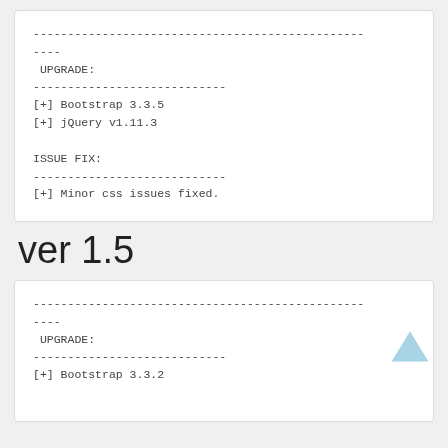------------------------------------------------
----
 UPGRADE:
----------------------------
[+] Bootstrap 3.3.5
[+] jQuery v1.11.3

ISSUE FIX:
----------------------------
[+] Minor css issues fixed.
ver 1.5
------------------------------------------------
----
 UPGRADE:
----------------------------
[+] Bootstrap 3.3.2